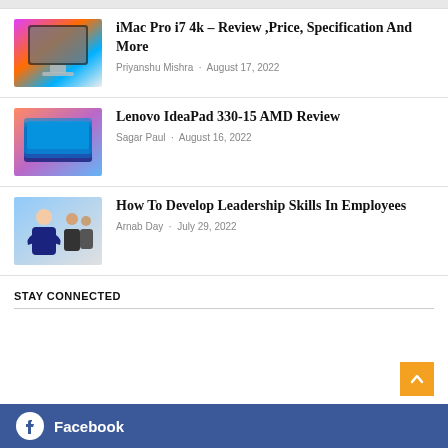iMac Pro i7 4k – Review ,Price, Specification And More · Priyanshu Mishra · August 17, 2022
Lenovo IdeaPad 330-15 AMD Review · Sagar Paul · August 16, 2022
How To Develop Leadership Skills In Employees · Arnab Day · July 29, 2022
STAY CONNECTED
Facebook